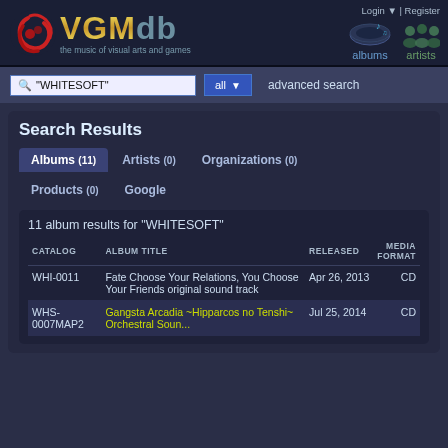[Figure (logo): VGMdb logo with red swirl icon, gold VGM text and blue-grey db text, subtitle 'the music of visual arts and games', albums and artists navigation icons]
Login | Register
"WHITESOFT" | all | advanced search
Search Results
Albums (11) | Artists (0) | Organizations (0) | Products (0) | Google
11 album results for "WHITESOFT"
| CATALOG | ALBUM TITLE | RELEASED | MEDIA FORMAT |
| --- | --- | --- | --- |
| WHI-0011 | Fate Choose Your Relations, You Choose Your Friends original sound track | Apr 26, 2013 | CD |
| WHS-0007MAP2 | Gangsta Arcadia ~Hipparcos no Tenshi~ Orchestral Soun... | Jul 25, 2014 | CD |